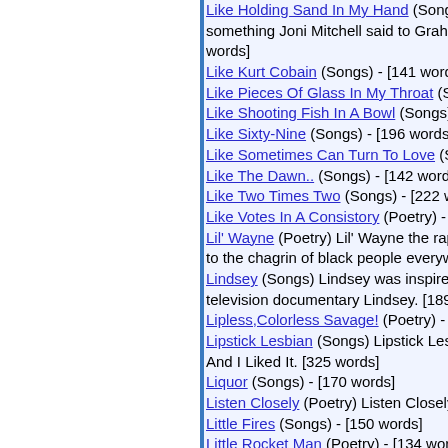Like Holding Sand In My Hand (Songs) - [...] something Joni Mitchell said to Graham Na... words]
Like Kurt Cobain (Songs) - [141 words]
Like Pieces Of Glass In My Throat (Songs)
Like Shooting Fish In A Bowl (Songs) - [104...
Like Sixty-Nine (Songs) - [196 words]
Like Sometimes Can Turn To Love (Songs)
Like The Dawn.. (Songs) - [142 words]
Like Two Times Two (Songs) - [222 words]
Like Votes In A Consistory (Poetry) - [77 wo...
Lil' Wayne (Poetry) Lil' Wayne the rapper ha... to the chagrin of black people everywhere.
Lindsey (Songs) Lindsey was inspired by th... television documentary Lindsey. [189 words...
Lipless,Colorless Savage! (Poetry) - [166 w...
Lipstick Lesbian (Songs) Lipstick Lesbian v... And I Liked It. [325 words]
Liquor (Songs) - [170 words]
Listen Closely (Poetry) Listen Closely was i...
Little Fires (Songs) - [150 words]
Little Rocket Man (Poetry) - [134 words]
Little Things (Mean So Much) (Songs) Little...
Live Life How You Want To (Songs) Live Li... song. [293 words]
Live The Life (Songs) Live The Life is an up...
Live Wire (Songs) - [170 words]